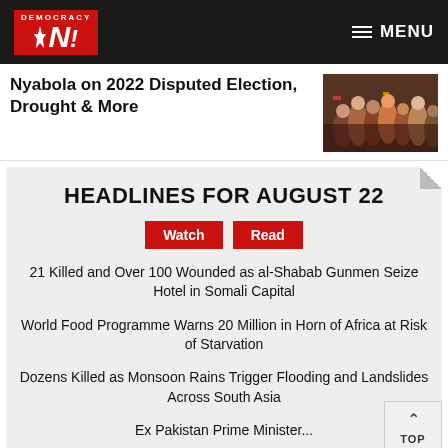Democracy Now! — MENU
Nyabola on 2022 Disputed Election, Drought & More
[Figure (photo): Crowd of people at a rally or protest]
HEADLINES FOR AUGUST 22
Watch  Read
21 Killed and Over 100 Wounded as al-Shabab Gunmen Seize Hotel in Somali Capital
World Food Programme Warns 20 Million in Horn of Africa at Risk of Starvation
Dozens Killed as Monsoon Rains Trigger Flooding and Landslides Across South Asia
Ex Pakistan Prime Minister...